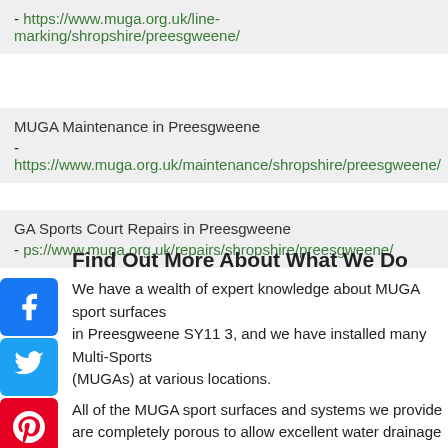- https://www.muga.org.uk/line-marking/shropshire/preesgweene/
MUGA Maintenance in Preesgweene
- https://www.muga.org.uk/maintenance/shropshire/preesgweene/
GA Sports Court Repairs in Preesgweene
- ps://www.muga.org.uk/repairs/shropshire/preesgweene/
Find Out More About What We Do
We have a wealth of expert knowledge about MUGA sport surfaces in Preesgweene SY11 3, and we have installed many Multi-Sports (MUGAs) at various locations.
All of the MUGA sport surfaces and systems we provide are completely porous to allow excellent water drainage and enable the facility to be used in all weather conditions.
This has great benefits for schools as it means PE lessons and extracurricular clubs can continue throughout the year without